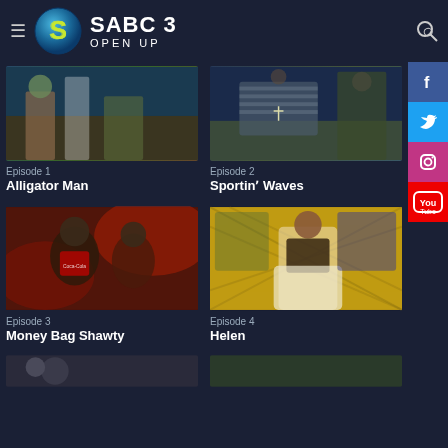[Figure (screenshot): SABC3 Open Up website screenshot showing episode grid with logo, navigation, and social media sidebar]
SABC 3 OPEN UP
Episode 1
Alligator Man
Episode 2
Sportin' Waves
Episode 3
Money Bag Shawty
Episode 4
Helen